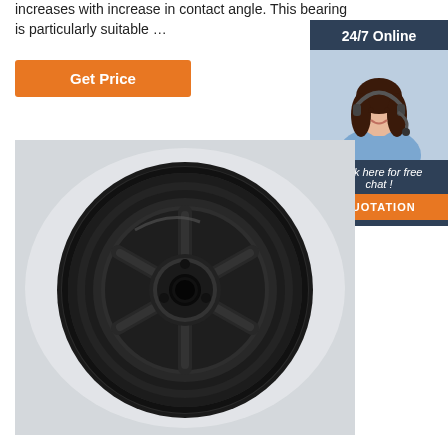increases with increase in contact angle. This bearing is particularly suitable …
Get Price
24/7 Online
[Figure (photo): Woman with headset smiling, customer support representative]
Click here for free chat !
QUOTATION
[Figure (photo): Black metal multi-groove V-belt pulley / sheave, front view on light background]